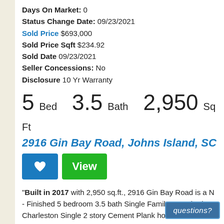Days On Market: 0
Status Change Date: 09/23/2021
Sold Price $693,000
Sold Price Sqft $234.92
Sold Date 09/23/2021
Seller Concessions: No
Disclosure 10 Yr Warranty
5 Bed  3.5 Bath  2,950 Sq Ft
2916 Gin Bay Road, Johns Island, SC 29455
[Figure (other): Heart/favorite button (blue) and View button (green)]
"Built in 2017 with 2,950 sq.ft., 2916 Gin Bay Road is a N - Finished 5 bedroom 3.5 bath Single Family Detached Charleston Single 2 story Cement Plank home for sale on 0.18 acre 0 - .5 Acre, Cul-De-Sac lot in the Oakfield
questions?